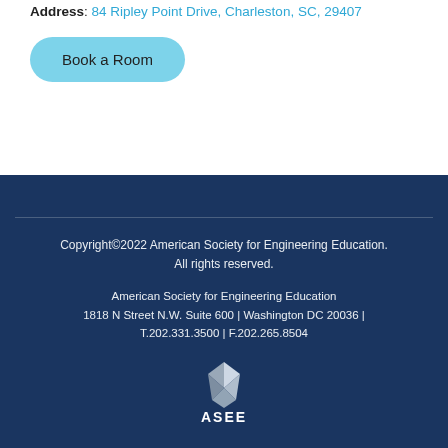Address: 84 Ripley Point Drive, Charleston, SC, 29407
Book a Room
Copyright©2022 American Society for Engineering Education. All rights reserved.
American Society for Engineering Education
1818 N Street N.W. Suite 600 | Washington DC 20036 | T.202.331.3500 | F.202.265.8504
[Figure (logo): ASEE logo — a faceted geometric diamond/lens mark above the text 'ASEE' in white on dark blue background]